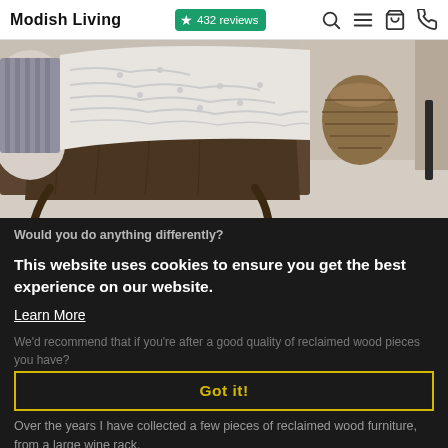Modish Living  ★ 432 reviews
[Figure (photo): Close-up photo of a wooden bed frame with white tufted headboard and rumpled white bedding, a wicker basket in the background on beige carpet]
Would you do anything differently?
This website uses cookies to ensure you get the best experience on our website.
Learn More
Got it!
Over the years I have collected a few pieces of reclaimed wood furniture, from a large wine rack,